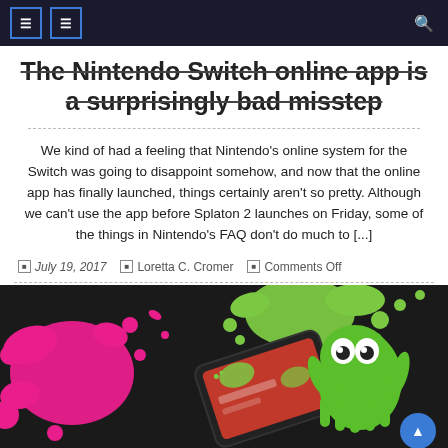Navigation bar with icons and search
The Nintendo Switch online app is a surprisingly bad misstep
We kind of had a feeling that Nintendo’s online system for the Switch was going to disappoint somehow, and now that the online app has finally launched, things certainly aren’t so pretty. Although we can’t use the app before Splaton 2 launches on Friday, some of the things in Nintendo’s FAQ don’t do much to […]
July 19, 2017 | Loretta C. Cromer | Comments Off
[Figure (photo): Splatoon 2 promotional image showing a smartphone with Splatoon 2 app, colorful ink splashes in pink and green, and a green squid character on a dark background]